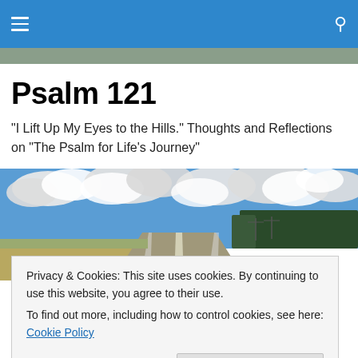Navigation bar with hamburger menu and search icon
Psalm 121
"I Lift Up My Eyes to the Hills." Thoughts and Reflections on "The Psalm for Life's Journey"
[Figure (photo): Wide road stretching into the distance with dramatic cloudy sky above and trees on the right side]
Privacy & Cookies: This site uses cookies. By continuing to use this website, you agree to their use.
To find out more, including how to control cookies, see here: Cookie Policy